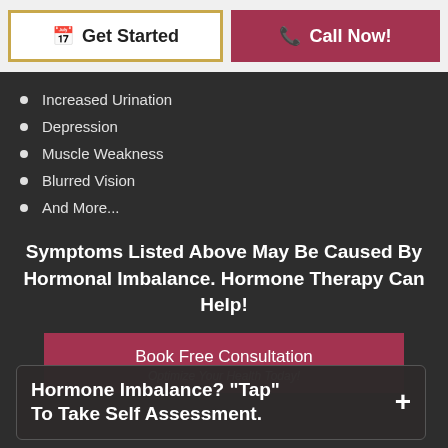Get Started | Call Now!
Increased Urination
Depression
Muscle Weakness
Blurred Vision
And More...
Symptoms Listed Above May Be Caused By Hormonal Imbalance. Hormone Therapy Can Help!
Book Free Consultation
Optimize Your Health Today!
Hormone Imbalance? "Tap" To Take Self Assessment.